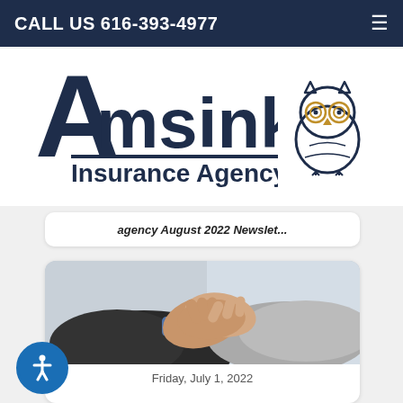CALL US 616-393-4977
[Figure (logo): Amsink Insurance Agency LLC logo with owl mascot]
Agency August 2022 Newslet...
[Figure (photo): Two businesspeople shaking hands]
Friday, July 1, 2022